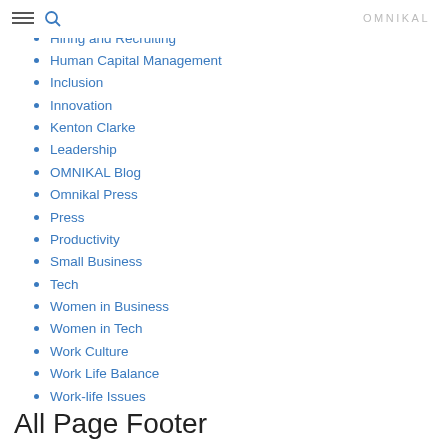OMNIKAL
Guest Authors
Hiring and Recruiting
Human Capital Management
Inclusion
Innovation
Kenton Clarke
Leadership
OMNIKAL Blog
Omnikal Press
Press
Productivity
Small Business
Tech
Women in Business
Women in Tech
Work Culture
Work Life Balance
Work-life Issues
All Page Footer